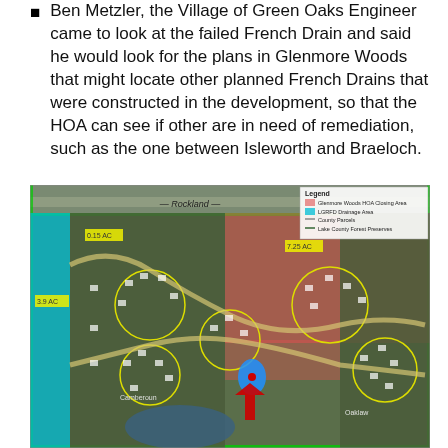Ben Metzler, the Village of Green Oaks Engineer came to look at the failed French Drain and said he would look for the plans in Glenmore Woods that might locate other planned French Drains that were constructed in the development, so that the HOA can see if other are in need of remediation, such as the one between Isleworth and Braeloch.
[Figure (map): Aerial map of Glenmore Woods HOA area showing parcels, drainage areas highlighted in red, a blue oval marking a location, a red arrow pointing to a pond/drainage area, cyan strip on the left indicating LGRFD Drainage Area, with a legend showing Glenmore Woods HOA Closing Area, LGRFD Drainage Area, County Parcels, and Lake County Forest Preserves. Labels visible include Rockland road at top, acreage labels 0.15 AC, 7.25 AC, 3.9 AC, and street names Camberoun and Oaklaw.]